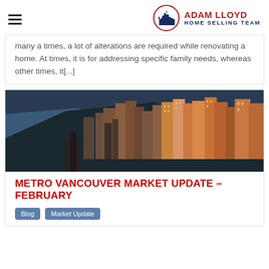Adam Lloyd Home Selling Team
many a times, a lot of alterations are required while renovating a home. At times, it is for addressing specific family needs, whereas other times, it[...]
[Figure (photo): Aerial view of a dense city skyline with skyscrapers along a waterfront, buildings lit with warm sunset tones against a blue water body, with a marina visible in the lower area.]
METRO VANCOUVER MARKET UPDATE – FEBRUARY
Blog
Market Update